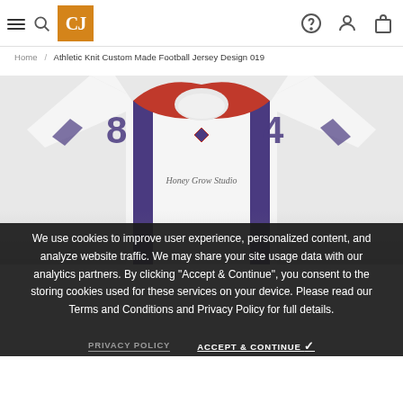Navigation bar with hamburger menu, CJ logo, help icon, user icon, and cart icon
Home / Athletic Knit Custom Made Football Jersey Design 019
[Figure (photo): White football jersey with red and purple trim, showing number on shoulders and team text across the chest]
We use cookies to improve user experience, personalized content, and analyze website traffic. We may share your site usage data with our analytics partners. By clicking “Accept & Continue”, you consent to the storing cookies used for these services on your device. Please read our Terms and Conditions and Privacy Policy for full details.
PRIVACY POLICY   ACCEPT & CONTINUE ✓